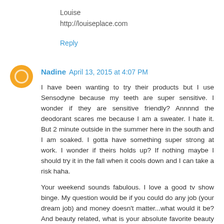Louise
http://louiseplace.com
Reply
Nadine  April 13, 2015 at 4:07 PM
I have been wanting to try their products but I use Sensodyne because my teeth are super sensitive. I wonder if they are sensitive friendly? Annnnd the deodorant scares me because I am a sweater. I hate it. But 2 minute outside in the summer here in the south and I am soaked. I gotta have something super strong at work. I wonder if theirs holds up? If nothing maybe I should try it in the fall when it cools down and I can take a risk haha.
Your weekend sounds fabulous. I love a good tv show binge. My question would be if you could do any job (your dream job) and money doesn't matter...what would it be? And beauty related, what is your absolute favorite beauty product? Hope you have a great week!